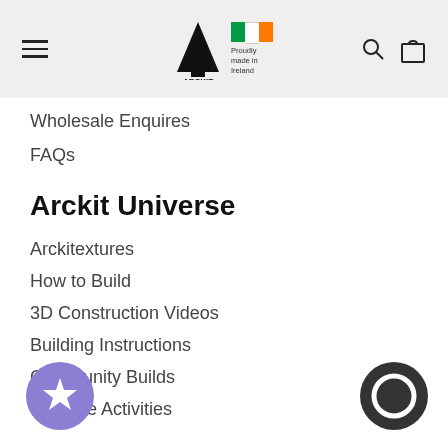ARCKIT — Proudly made in Ireland
Wholesale Enquires
FAQs
Arckit Universe
Arckitextures
How to Build
3D Construction Videos
Building Instructions
Community Builds
Creative Activities